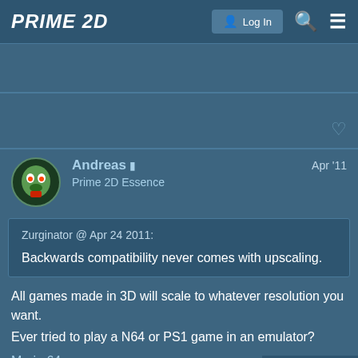PRIME 2D | Log In
Andreas | Prime 2D Essence | Apr '11
Zurginator @ Apr 24 2011:
Backwards compatibility never comes with upscaling.
All games made in 3D will scale to whatever resolution you want.
Ever tried to play a N64 or PS1 game in an emulator?
Mario 64
Final Fantasy 7 with bilinear filtering turne
3 / 16